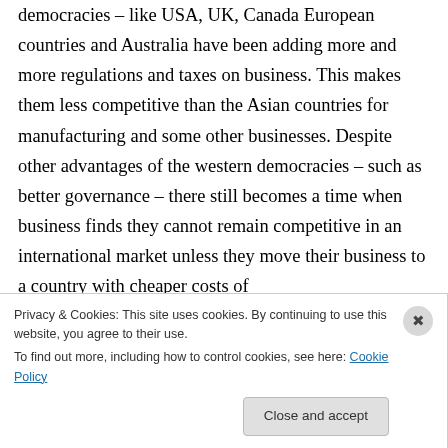democracies – like USA, UK, Canada European countries and Australia have been adding more and more regulations and taxes on business. This makes them less competitive than the Asian countries for manufacturing and some other businesses. Despite other advantages of the western democracies – such as better governance – there still becomes a time when business finds they cannot remain competitive in an international market unless they move their business to a country with cheaper costs of
Privacy & Cookies: This site uses cookies. By continuing to use this website, you agree to their use.
To find out more, including how to control cookies, see here: Cookie Policy